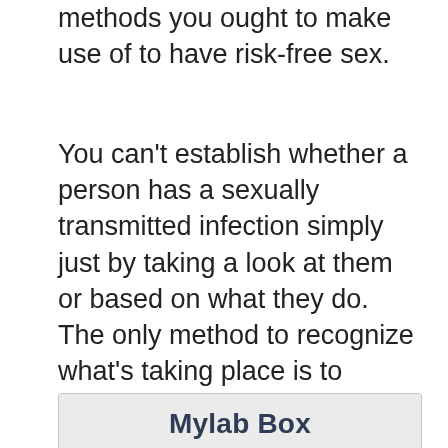methods you ought to make use of to have risk-free sex.
You can't establish whether a person has a sexually transmitted infection simply just by taking a look at them or based on what they do. The only method to recognize what's taking place is to choose testing.
Mylab Box
[Figure (photo): Photo of two people close together with orange tint overlay. Text overlay reads 'Safe is the new sexy' and 'At-home STD testing now with FREE physician consultation']